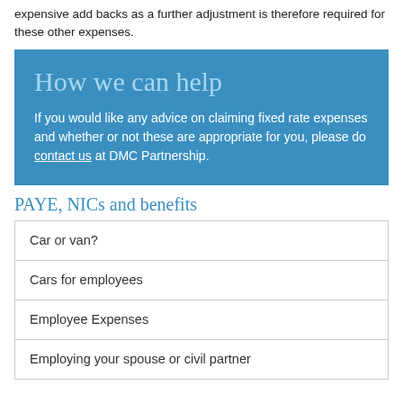expensive add backs as a further adjustment is therefore required for these other expenses.
How we can help
If you would like any advice on claiming fixed rate expenses and whether or not these are appropriate for you, please do contact us at DMC Partnership.
PAYE, NICs and benefits
Car or van?
Cars for employees
Employee Expenses
Employing your spouse or civil partner